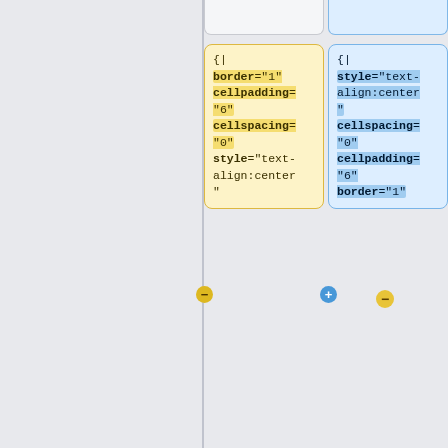{|
border="1"
cellpadding="6"
cellspacing="0"
style="text-align:center"
{|
style="text-align:center"
cellspacing="0"
cellpadding="6"
border="1"
!colspan="11" | Type B circuit breakers to BS EN 60898
! colspan="11"|Type B circuit breakers to BS EN 60898
|-
|-
|Rating (amps)
|Rating (amps)